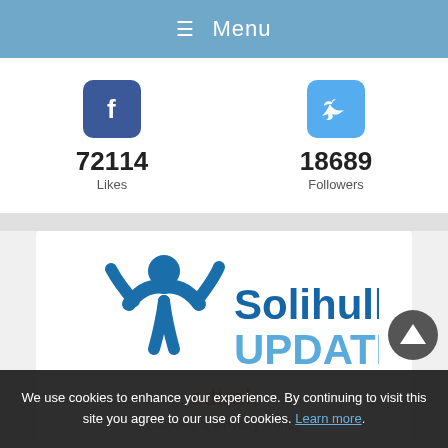☰ Menu
72114 Likes
18689 Followers
[Figure (logo): Solihull Updates logo with blue figure and text]
adtrak
Cookies & Privacy Policy
We use cookies to enhance your experience. By continuing to visit this site you agree to our use of cookies. Learn more.